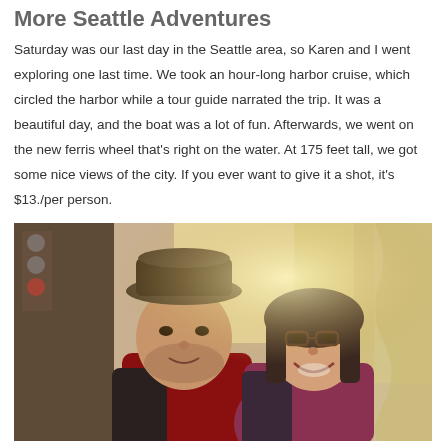More Seattle Adventures
Saturday was our last day in the Seattle area, so Karen and I went exploring one last time. We took an hour-long harbor cruise, which circled the harbor while a tour guide narrated the trip. It was a beautiful day, and the boat was a lot of fun. Afterwards, we went on the new ferris wheel that’s right on the water. At 175 feet tall, we got some nice views of the city. If you ever want to give it a shot, it’s $13./per person.
[Figure (photo): A man wearing a fedora hat and a woman wearing glasses smiling together, likely on the ferris wheel gondola, with bright light behind them.]